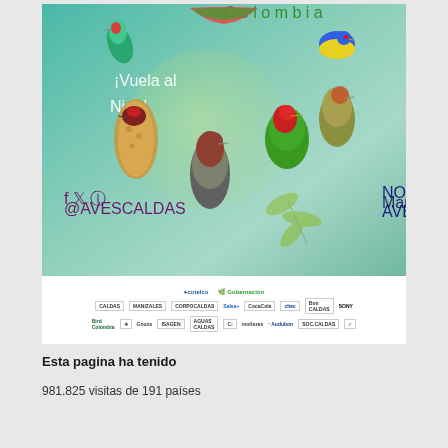[Figure (illustration): Aves Caldas festival poster - '¡Vuela al Nido!' - showing multiple colorful birds including hummingbird, woodpecker, tanagers. Event info: NOV.10-13/2022, Manizales | Colombia, AVESCALDAS.COM. Social media @AVESCALDAS. Sponsors band at bottom with logos including cotelco, Sony, chec, Audubon, Bird Colombia, Gouos, and others.]
Esta pagina ha tenido
981.825 visitas de 191 países